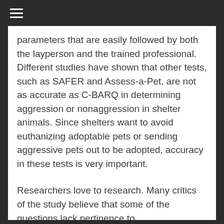parameters that are easily followed by both the layperson and the trained professional. Different studies have shown that other tests, such as SAFER and Assess-a-Pet, are not as accurate as C-BARQ in determining aggression or nonaggression in shelter animals. Since shelters want to avoid euthanizing adoptable pets or sending aggressive pets out to be adopted, accuracy in these tests is very important.
Researchers love to research. Many critics of the study believe that some of the questions lack pertinence to